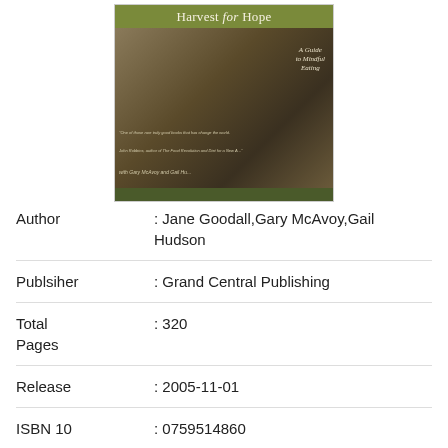[Figure (photo): Book cover of 'Harvest for Hope: A Guide to Mindful Eating' showing a woman with grey hair outdoors with subtitle text and co-author credits.]
Author : Jane Goodall,Gary McAvoy,Gail Hudson
Publsiher : Grand Central Publishing
Total Pages : 320
Release : 2005-11-01
ISBN 10 : 0759514860